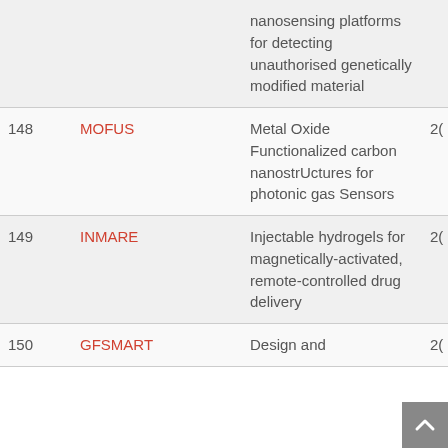| # | Acronym | Description |  |
| --- | --- | --- | --- |
|  |  | nanosensing platforms for detecting unauthorised genetically modified material |  |
| 148 | MOFUS | Metal Oxide Functionalized carbon nanostrUctures for photonic gas Sensors | 2( |
| 149 | INMARE | Injectable hydrogels for magnetically-activated, remote-controlled drug delivery | 2( |
| 150 | GFSMART | Design and ... | 2( |